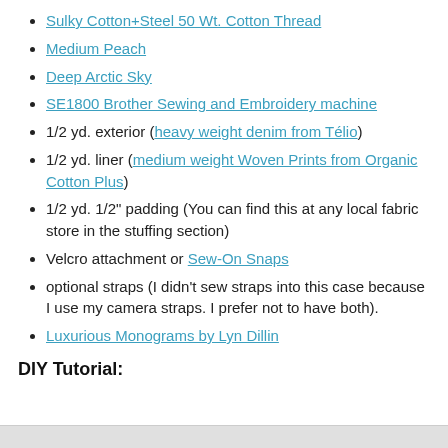Sulky Cotton+Steel 50 Wt. Cotton Thread
Medium Peach
Deep Arctic Sky
SE1800 Brother Sewing and Embroidery machine
1/2 yd. exterior (heavy weight denim from Télio)
1/2 yd. liner (medium weight Woven Prints from Organic Cotton Plus)
1/2 yd. 1/2" padding (You can find this at any local fabric store in the stuffing section)
Velcro attachment or Sew-On Snaps
optional straps (I didn't sew straps into this case because I use my camera straps. I prefer not to have both).
Luxurious Monograms by Lyn Dillin
DIY Tutorial: